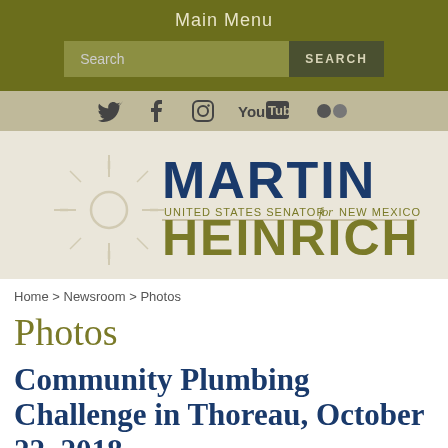Main Menu
[Figure (screenshot): Search bar with text input field and SEARCH button on olive green background]
[Figure (infographic): Social media icons row: Twitter, Facebook, Instagram, YouTube, Flickr on tan background]
[Figure (logo): Martin Heinrich United States Senator for New Mexico logo with Zia sun symbol]
Home > Newsroom > Photos
Photos
Community Plumbing Challenge in Thoreau, October 22, 2018 »